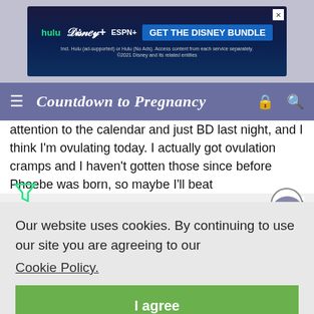[Figure (screenshot): Disney Bundle advertisement banner with Hulu, Disney+, ESPN+ logos and 'GET THE DISNEY BUNDLE' CTA button]
Countdown to Pregnancy
attention to the calendar and just BD last night, and I think I'm ovulating today. I actually got ovulation cramps and I haven't gotten those since before Phoebe was born, so maybe I'll beat
Our website uses cookies. By continuing to use our site you are agreeing to our Cookie Policy.
I agree
[Figure (screenshot): Disney Bundle advertisement banner with Hulu, Disney+, ESPN+ logos and 'GET THE DISNEY BUNDLE' CTA button]